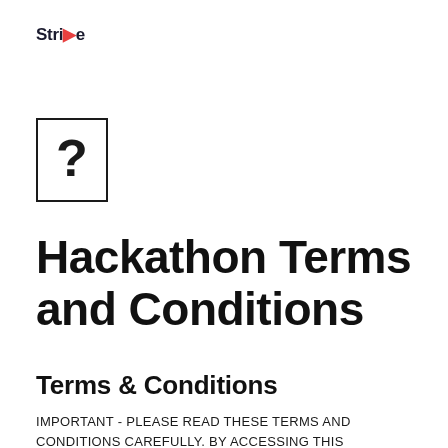Stride
[Figure (logo): Question mark icon inside a rectangular box border]
Hackathon Terms and Conditions
Terms & Conditions
IMPORTANT - PLEASE READ THESE TERMS AND CONDITIONS CAREFULLY. BY ACCESSING THIS